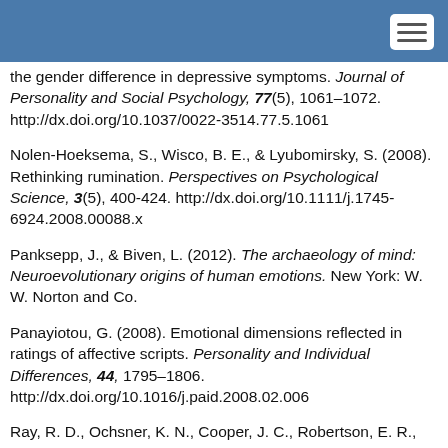the gender difference in depressive symptoms. Journal of Personality and Social Psychology, 77(5), 1061–1072. http://dx.doi.org/10.1037/0022-3514.77.5.1061
Nolen-Hoeksema, S., Wisco, B. E., & Lyubomirsky, S. (2008). Rethinking rumination. Perspectives on Psychological Science, 3(5), 400-424. http://dx.doi.org/10.1111/j.1745-6924.2008.00088.x
Panksepp, J., & Biven, L. (2012). The archaeology of mind: Neuroevolutionary origins of human emotions. New York: W. W. Norton and Co.
Panayiotou, G. (2008). Emotional dimensions reflected in ratings of affective scripts. Personality and Individual Differences, 44, 1795–1806. http://dx.doi.org/10.1016/j.paid.2008.02.006
Ray, R. D., Ochsner, K. N., Cooper, J. C., Robertson, E. R., Gabrieli, J. D. E., & Gross, J. J. (2005). Individual differences in trait reappraisal and reappraisal success…